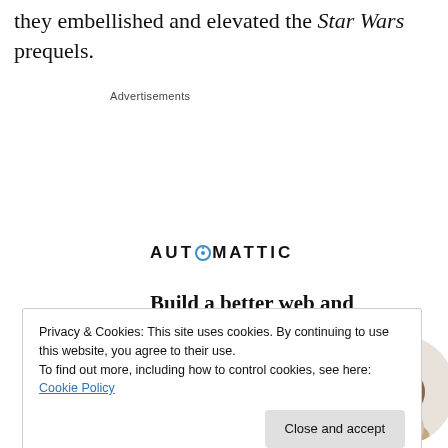they embellished and elevated the Star Wars prequels.
Advertisements
[Figure (infographic): Automattic advertisement: logo with spinning 'O', headline 'Build a better web and a better world.', Apply button, circular photo of man thinking at desk]
Privacy & Cookies: This site uses cookies. By continuing to use this website, you agree to their use.
To find out more, including how to control cookies, see here: Cookie Policy
Close and accept